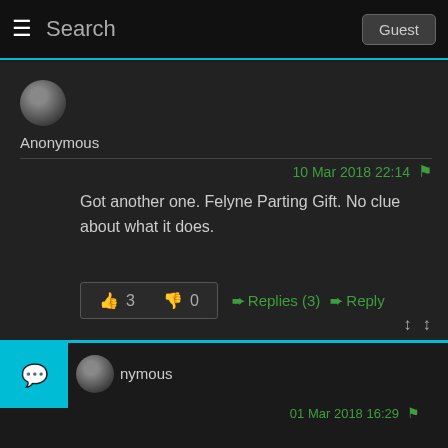Search  Guest
Anonymous
10 Mar 2018 22:14
Got another one. Felyne Parting Gift. No clue about what it does.
👍 3   👎 0   ➤Replies (3)   ➤Reply
↑↑  ↑↑
nymous
01 Mar 2018 16:29